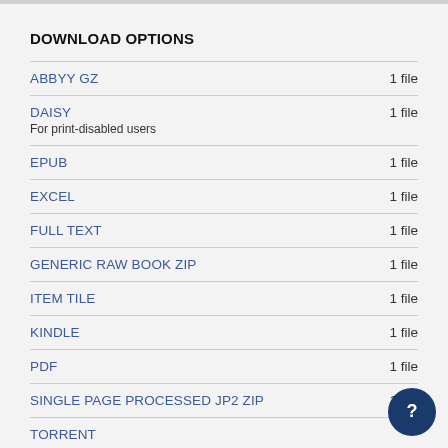DOWNLOAD OPTIONS
ABBYY GZ	1 file
DAISY	1 file
For print-disabled users
EPUB	1 file
EXCEL	1 file
FULL TEXT	1 file
GENERIC RAW BOOK ZIP	1 file
ITEM TILE	1 file
KINDLE	1 file
PDF	1 file
SINGLE PAGE PROCESSED JP2 ZIP	1 file
TORRENT	1 file
ZIP